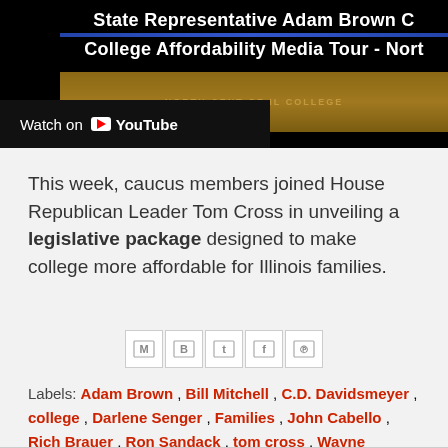[Figure (screenshot): YouTube video thumbnail showing 'State Representative Adam Brown College Affordability Media Tour - Nort...' with 'Watch on YouTube' button overlay on black background]
This week, caucus members joined House Republican Leader Tom Cross in unveiling a legislative package designed to make college more affordable for Illinois families.
[Figure (infographic): Social sharing icons: Gmail, Blogger, Twitter, Facebook, Pinterest]
Labels: Adam Brown , Bill Mitchell , C.D. Davidsmeyer , college , Darlene Senger , Families , John Cabello , Rich Brauer , Ron Sandack , tom cross , Wayne Rosenthal